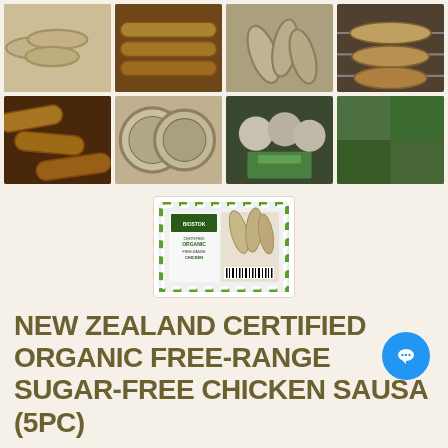[Figure (photo): Grid of 8 photos showing chicken sausages being cooked, raw, on a grill, close-up cross-section, people cooking, and farm scenes. Also a product packaging image in the center. Product is Biostok Organic Free-Range Chicken Sausages.]
NEW ZEALAND CERTIFIED ORGANIC FREE-RANGE SUGAR-FREE CHICKEN SAUSAGES (5PC)